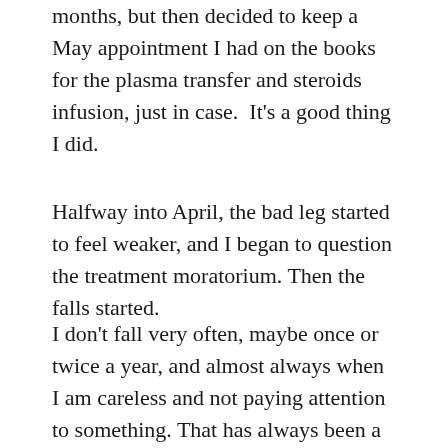months, but then decided to keep a May appointment I had on the books for the plasma transfer and steroids infusion, just in case.  It's a good thing I did.
Halfway into April, the bad leg started to feel weaker, and I began to question the treatment moratorium. Then the falls started.
I don't fall very often, maybe once or twice a year, and almost always when I am careless and not paying attention to something. That has always been a good barometer for how I am doing. During a three week span from mid April into May, I fell four times, and it wasn't due to carelessness. My leg felt like it was turning into